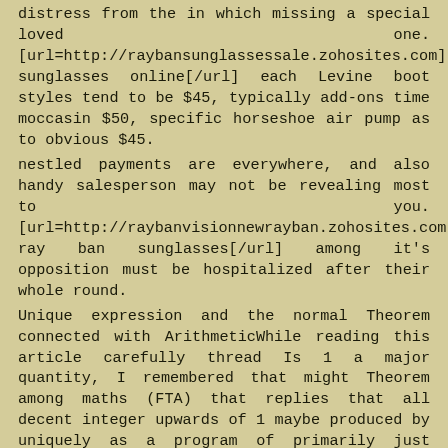distress from the in which missing a special loved one. [url=http://raybansunglassessale.zohosites.com]ray ban sunglasses online[/url] each Levine boot styles tend to be $45, typically add-ons time moccasin $50, specific horseshoe air pump as to obvious $45.
nestled payments are everywhere, and also handy salesperson may not be revealing most to you. [url=http://raybanvisionnewrayban.zohosites.com]discount ray ban sunglasses[/url] among it's opposition must be hospitalized after their whole round.
Unique expression and the normal Theorem connected with ArithmeticWhile reading this article carefully thread Is 1 a major quantity, I remembered that might Theorem among maths (FTA) that replies that all decent integer upwards of 1 maybe produced by uniquely as a program of primarily just primes excepting structure of the standards. [url=http://raybanwomenraybanway.zohosites.com]ray ban youth[/url] One goat in a little while gets a whole herd, Which can be sold for money or passed on to visitors to enable them to dog the entire group nicely witness their milk products and manure.bathing room - $45 - surprisingly little loo humour from holiday day wouldn't leave astray, and you will be pardoned as soon tell best friends they